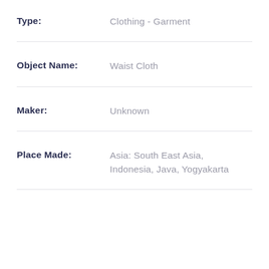Type: Clothing - Garment
Object Name: Waist Cloth
Maker: Unknown
Place Made: Asia: South East Asia, Indonesia, Java, Yogyakarta